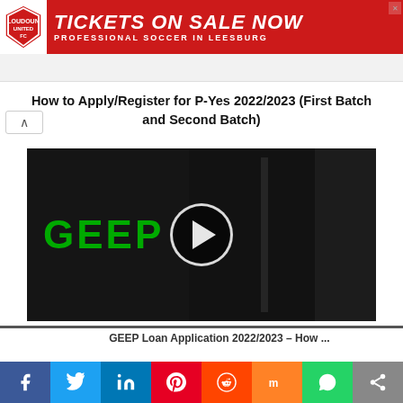[Figure (other): Loudoun United FC advertisement banner — red background with white shield logo and text 'TICKETS ON SALE NOW' and 'PROFESSIONAL SOCCER IN LEESBURG']
How to Apply/Register for P-Yes 2022/2023 (First Batch and Second Batch)
[Figure (screenshot): Dark video thumbnail showing green 'GEEP' text on left and a circular white play button in center]
GEEP Loan Application 2022/2023 – How ...
[Figure (other): Social media share bar at bottom with Facebook, Twitter, LinkedIn, Pinterest, Reddit, Mix, WhatsApp, and share icons]